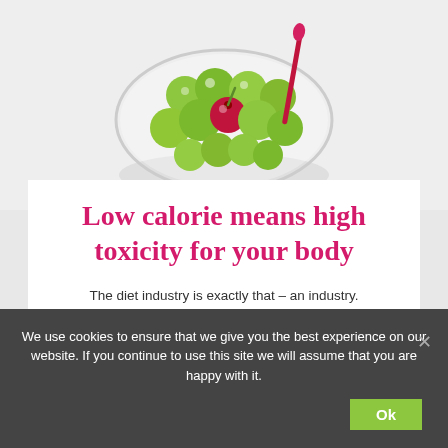[Figure (photo): Photo of green grapes/olives in a clear glass bowl with a red cherry and a pink/red spoon on a white background]
Low calorie means high toxicity for your body
The diet industry is exactly that – an industry. Manufacturing products that look healthy by using clean looking typefaces, vital images, clever wording, simple packaging...
We use cookies to ensure that we give you the best experience on our website. If you continue to use this site we will assume that you are happy with it.